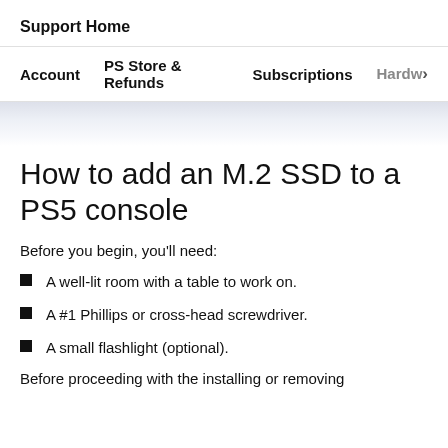Support Home
Account   PS Store & Refunds   Subscriptions   Hardw›
How to add an M.2 SSD to a PS5 console
Before you begin, you'll need:
A well-lit room with a table to work on.
A #1 Phillips or cross-head screwdriver.
A small flashlight (optional).
Before proceeding with the installing or removing